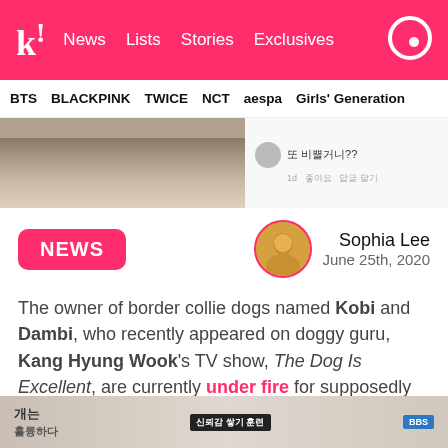k! News Lists Stories Exclusives
BTS BLACKPINK TWICE NCT aespa Girls' Generation
[Figure (photo): Left: partial photo of a person with dark hair. Right: social media comment screenshot with blurred avatar and Korean text.]
NEWS
Sophia Lee
June 25th, 2020
The owner of border collie dogs named Kobi and Dambi, who recently appeared on doggy guru, Kang Hyung Wook's TV show, The Dog Is Excellent, are currently under fire for supposedly being selfish and abusing their dogs for their own interests.
[Figure (screenshot): Bottom partial screenshot of a Korean TV show thumbnail with Korean text and a BBS logo.]